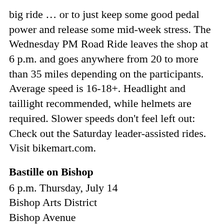big ride … or to just keep some good pedal power and release some mid-week stress. The Wednesday PM Road Ride leaves the shop at 6 p.m. and goes anywhere from 20 to more than 35 miles depending on the participants. Average speed is 16-18+. Headlight and taillight recommended, while helmets are required. Slower speeds don't feel left out: Check out the Saturday leader-assisted rides. Visit bikemart.com.
Bastille on Bishop
6 p.m. Thursday, July 14
Bishop Arts District
Bishop Avenue
Free
Every year, we have to prepare ourselves for the clowns. And every year, we smack our heads and say, “Those are French mimes, not clowns, dummy! Never mind the painted faces, take me to the cheese!” And then, every year, we think, “This is about more than cheese; this is about wearing strings… wait, no, it’s about French